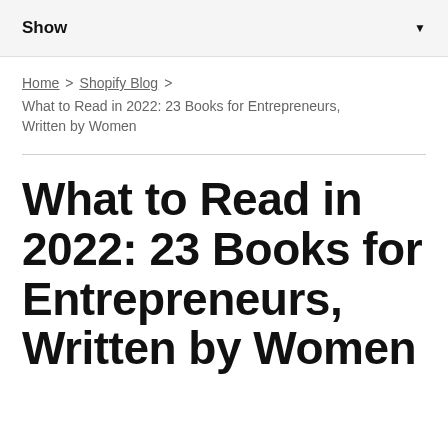Show
Home > Shopify Blog > What to Read in 2022: 23 Books for Entrepreneurs, Written by Women
What to Read in 2022: 23 Books for Entrepreneurs, Written by Women